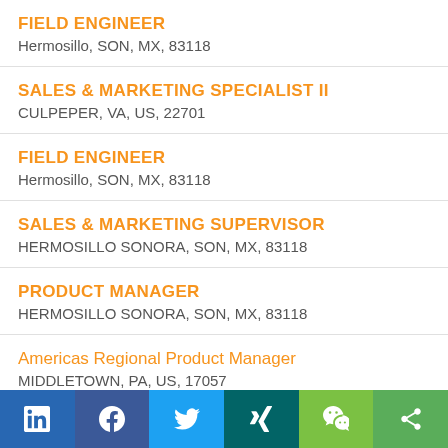FIELD ENGINEER
Hermosillo, SON, MX, 83118
SALES & MARKETING SPECIALIST II
CULPEPER, VA, US, 22701
FIELD ENGINEER
Hermosillo, SON, MX, 83118
SALES & MARKETING SUPERVISOR
HERMOSILLO SONORA, SON, MX, 83118
PRODUCT MANAGER
HERMOSILLO SONORA, SON, MX, 83118
Americas Regional Product Manager
MIDDLETOWN, PA, US, 17057
Americas Regional Product Manager